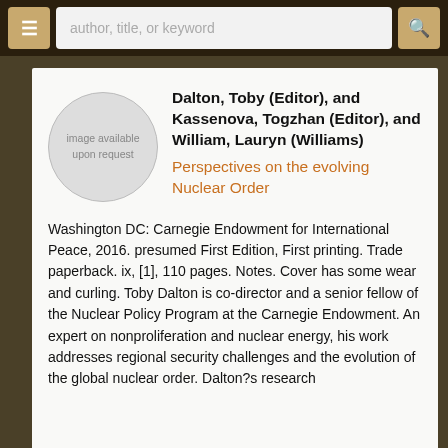author, title, or keyword
[Figure (illustration): Circular placeholder image with text 'image available upon request']
Dalton, Toby (Editor), and Kassenova, Togzhan (Editor), and William, Lauryn (Williams)
Perspectives on the evolving Nuclear Order
Washington DC: Carnegie Endowment for International Peace, 2016. presumed First Edition, First printing. Trade paperback. ix, [1], 110 pages. Notes. Cover has some wear and curling. Toby Dalton is co-director and a senior fellow of the Nuclear Policy Program at the Carnegie Endowment. An expert on nonproliferation and nuclear energy, his work addresses regional security challenges and the evolution of the global nuclear order. Dalton?s research